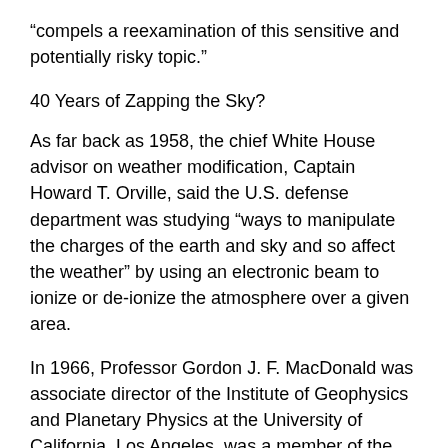“compels a reexamination of this sensitive and potentially risky topic.”
40 Years of Zapping the Sky?
As far back as 1958, the chief White House advisor on weather modification, Captain Howard T. Orville, said the U.S. defense department was studying “ways to manipulate the charges of the earth and sky and so affect the weather” by using an electronic beam to ionize or de-ionize the atmosphere over a given area.
In 1966, Professor Gordon J. F. MacDonald was associate director of the Institute of Geophysics and Planetary Physics at the University of California, Los Angeles, was a member of the President’s Science Advisory Committee, and later a member of the President’s Council on